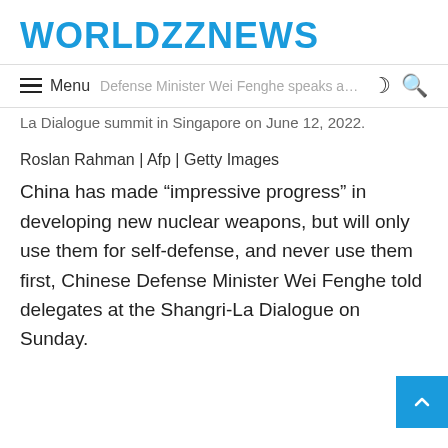WORLDZZNEWS
Menu  Defense Minister Wei Fenghe speaks at the Shangri-La Dialogue summit in Singapore on June 12, 2022.
Roslan Rahman | Afp | Getty Images
China has made “impressive progress” in developing new nuclear weapons, but will only use them for self-defense, and never use them first, Chinese Defense Minister Wei Fenghe told delegates at the Shangri-La Dialogue on Sunday.